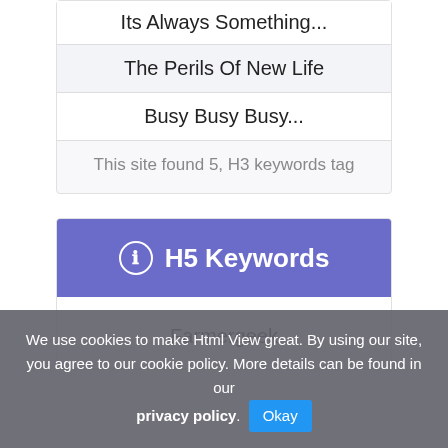Its Always Something...
The Perils Of New Life
Busy Busy Busy...
This site found 5, H3 keywords tag
H5 Keywords
Farmergeek
We use cookies to make Html View great. By using our site, you agree to our cookie policy. More details can be found in our privacy policy. Okay